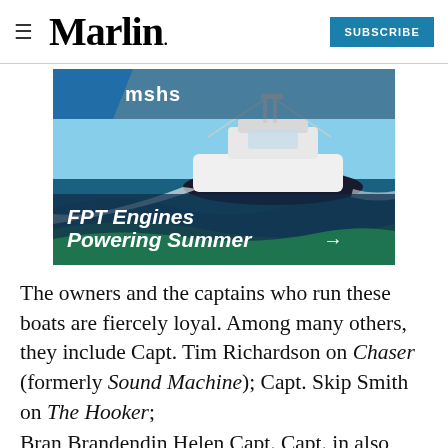Marlin | SUBSCRIBE
[Figure (illustration): Advertisement for MSHS featuring a white sport fishing boat speeding on water with text 'FPT Engines Powering Summer →' on a dark teal/green wave background.]
The owners and the captains who run these boats are fiercely loyal. Among many others, they include Capt. Tim Richardson on Chaser (formerly Sound Machine); Capt. Skip Smith on The Hooker; Bran Brandendin Helen Capt. Capt. in also